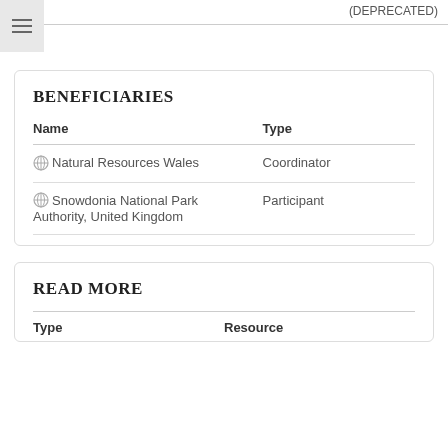(DEPRECATED)
| Name | Type |
| --- | --- |
| Natural Resources Wales | Coordinator |
| Snowdonia National Park Authority, United Kingdom | Participant |
BENEFICIARIES
READ MORE
| Type | Resource |
| --- | --- |